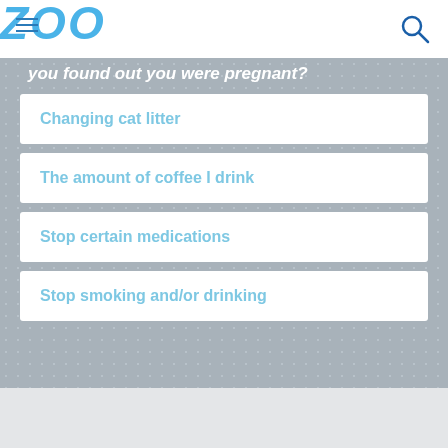ZOO
you found out you were pregnant?
Changing cat litter
The amount of coffee I drink
Stop certain medications
Stop smoking and/or drinking